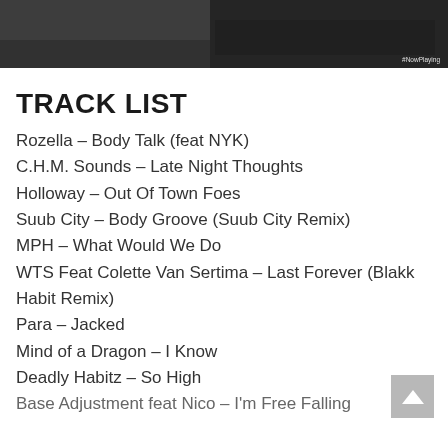[Figure (photo): A photo strip showing musicians/DJs performing, dark background]
TRACK LIST
Rozella – Body Talk (feat NYK)
C.H.M. Sounds – Late Night Thoughts
Holloway – Out Of Town Foes
Suub City – Body Groove (Suub City Remix)
MPH – What Would We Do
WTS Feat Colette Van Sertima – Last Forever (Blakk Habit Remix)
Para – Jacked
Mind of a Dragon – I Know
Deadly Habitz – So High
Base Adjustment feat Nico – I'm Free Falling